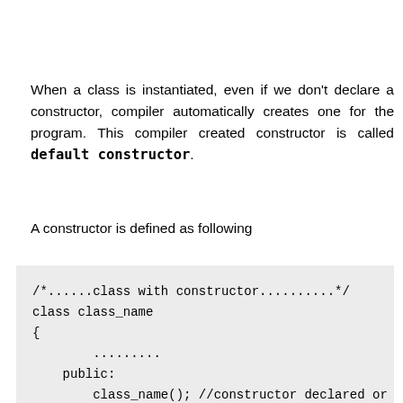When a class is instantiated, even if we don't declare a constructor, compiler automatically creates one for the program. This compiler created constructor is called default constructor.
A constructor is defined as following
/*......class with constructor..........*/
class class_name
{
        .........
    public:
        class_name(); //constructor declared or
        .........